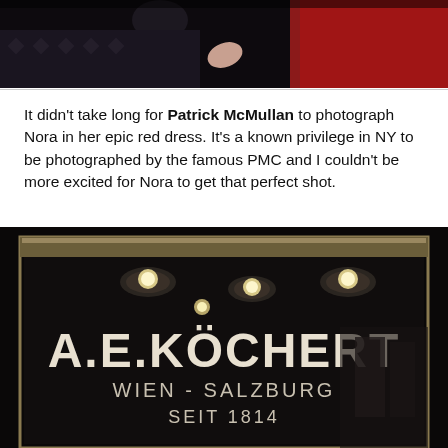[Figure (photo): Dark photograph showing two people, one wearing a red dress, taken at what appears to be an indoor event.]
It didn't take long for Patrick McMullan to photograph Nora in her epic red dress. It's a known privilege in NY to be photographed by the famous PMC and I couldn't be more excited for Nora to get that perfect shot.
[Figure (photo): Photograph of a jewelry store display case with A.E. KÖCHERT branding, showing text: A.E.KÖCHERT, WIEN - SALZBURG, SEIT 1814. The display has spotlights and reflective glass surfaces.]